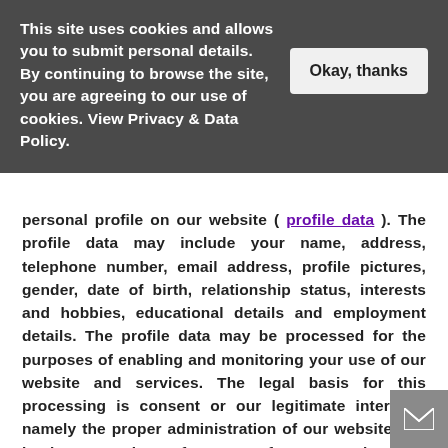This site uses cookies and allows you to submit personal details. By continuing to browse the site, you are agreeing to our use of cookies. View Privacy & Data Policy.
personal profile on our website ( profile data ). The profile data may include your name, address, telephone number, email address, profile pictures, gender, date of birth, relationship status, interests and hobbies, educational details and employment details. The profile data may be processed for the purposes of enabling and monitoring your use of our website and services. The legal basis for this processing is consent or our legitimate interests, namely the proper administration of our website and business OR the performance of a contract between you and us and/or taking steps, at you request, to enter into such a contract.
2.5  We may process your personal data that are provided